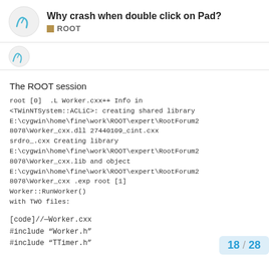Why crash when double click on Pad? ROOT
The ROOT session
root [0] .L Worker.cxx++ Info in <TWinNTSystem::ACLiC>: creating shared library E:\cygwin\home\fine\work\ROOT\expert\RootForum28078\Worker_cxx.dll 27440109_cint.cxx srdro_.cxx Creating library E:\cygwin\home\fine\work\ROOT\expert\RootForum28078\Worker_cxx.lib and object E:\cygwin\home\fine\work\ROOT\expert\RootForum28078\Worker_cxx .exp root [1] Worker::RunWorker() with TWO files:
[code]//—Worker.cxx
#include "Worker.h"
#include "TTimer.h"
18 / 28